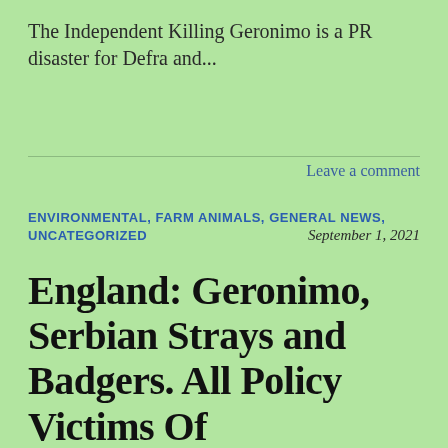The Independent Killing Geronimo is a PR disaster for Defra and...
Leave a comment
ENVIRONMENTAL, FARM ANIMALS, GENERAL NEWS, UNCATEGORIZED
September 1, 2021
England: Geronimo, Serbian Strays and Badgers. All Policy Victims Of Governments That Will Not Accept The Evidence.